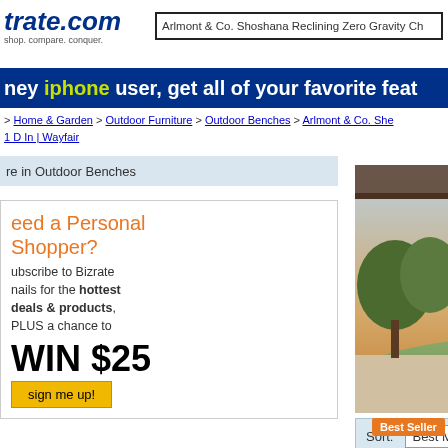trate.com — shop. compare. conquer.
Arlmont & Co. Shoshana Reclining Zero Gravity Ch
hey iphone user, get all of your favorite feat
> Home & Garden > Outdoor Furniture > Outdoor Benches > Arlmont & Co. She
1 D In | Wayfair
re in Outdoor Benches
[Figure (photo): Two red reclining zero gravity chairs with cushions on a patio with greenery background at sunset]
Arlmont & Co. Sh
Whether you're hosting poolside, you want a c... stress of the week fall... more
eed a Personal Shopper?
Subscribe to Bizrate emails for the hottest deals & products, PLUS a chance to WIN $25
sign me up!
Sort: Best Match   Show: □ Free Shippi
Arlmont & Co. Shoshana Rec
Whether you're hosting friends or just spending a few hours soaking up the s
Best Seller